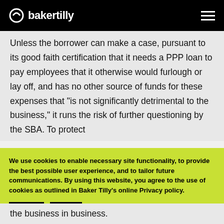bakertilly
Unless the borrower can make a case, pursuant to its good faith certification that it needs a PPP loan to pay employees that it otherwise would furlough or lay off, and has no other source of funds for these expenses that “is not significantly detrimental to the business,” it runs the risk of further questioning by the SBA. To protect
We use cookies to enable necessary site functionality, to provide the best possible user experience, and to tailor future communications. By using this website, you agree to the use of cookies as outlined in Baker Tilly's online Privacy policy.
the business in business.